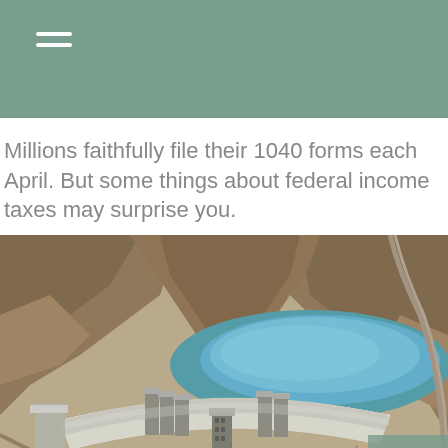Millions faithfully file their 1040 forms each April. But some things about federal income taxes may surprise you.
[Figure (photo): Aerial photograph of Hoover Dam showing the curved concrete dam wall, intake towers, Lake Mead reservoir with turquoise water, and surrounding desert canyon terrain. Roads visible winding around canyon walls.]